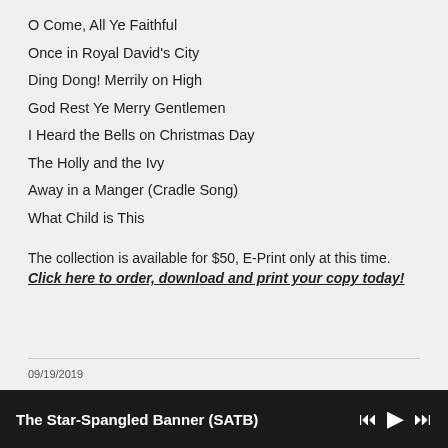O Come, All Ye Faithful
Once in Royal David's City
Ding Dong! Merrily on High
God Rest Ye Merry Gentlemen
I Heard the Bells on Christmas Day
The Holly and the Ivy
Away in a Manger (Cradle Song)
What Child is This
The collection is available for $50, E-Print only at this time. Click here to order, download and print your copy today!
09/19/2019
The Star-Spangled Banner (SATB)